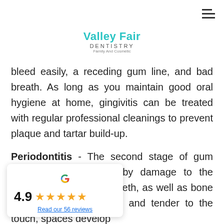Valley Fair DENTISTRY
bleed easily, a receding gum line, and bad breath. As long as you maintain good oral hygiene at home, gingivitis can be treated with regular professional cleanings to prevent plaque and tartar build-up.
Periodontitis - The second stage of gum disease, characterized by damage to the tissue surrounding the teeth, as well as bone loss. Gums are swollen and tender to the touch, spaces develop
[Figure (infographic): Google review widget showing 4.9 rating with 5 stars and a link to Read our 56 reviews]